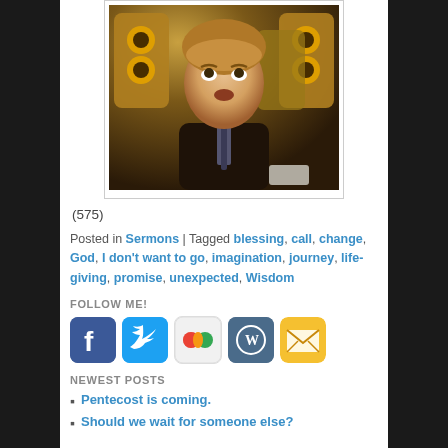[Figure (photo): A man with light brown hair in a dark suit, looking upward with a surprised expression, surrounded by yellow/gold cylindrical objects in the background.]
(575)
Posted in Sermons | Tagged blessing, call, change, God, I don't want to go, imagination, journey, life-giving, promise, unexpected, Wisdom
FOLLOW ME!
[Figure (infographic): Row of social media icons: Facebook, Twitter, Google+, WordPress, Email]
NEWEST POSTS
Pentecost is coming.
Should we wait for someone else?